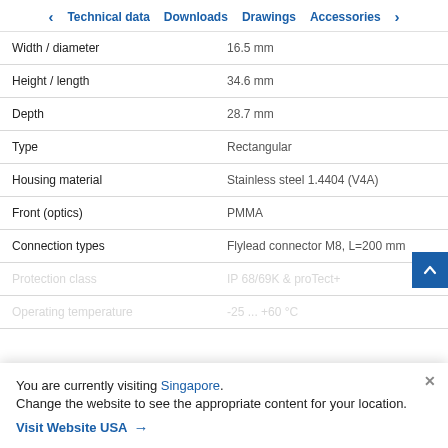Technical data | Downloads | Drawings | Accessories
| Property | Value |
| --- | --- |
| Width / diameter | 16.5 mm |
| Height / length | 34.6 mm |
| Depth | 28.7 mm |
| Type | Rectangular |
| Housing material | Stainless steel 1.4404 (V4A) |
| Front (optics) | PMMA |
| Connection types | Flylead connector M8, L=200 mm |
| Protection class | IP 68/69K & proTect+ |
| Operating temperature | -25 ... +60 °C |
You are currently visiting Singapore. Change the website to see the appropriate content for your location.
Visit Website USA →